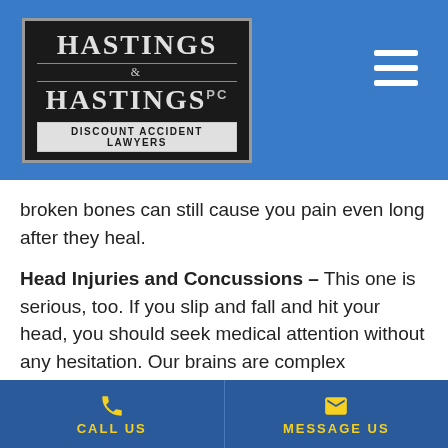[Figure (logo): Hastings & Hastings PC Discount Accident Lawyers logo — dark background with serif lettering]
broken bones can still cause you pain even long after they heal.
Head Injuries and Concussions – This one is serious, too. If you slip and fall and hit your head, you should seek medical attention without any hesitation. Our brains are complex machines and the last thing that anyone wants is for that machine to be damaged. Concussions can result in major and long lasting symptoms including: drowsiness, pain, memory loss, nausea and vomiting.
CALL US | MESSAGE US